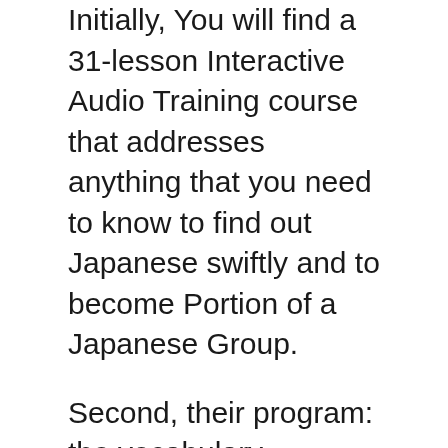Initially, You will find a 31-lesson Interactive Audio Training course that addresses anything that you need to know to find out Japanese swiftly and to become Portion of a Japanese Group.
Second, their program: the vocabulary software can be a term building game created that will help you find out about one thousand Japanese words and also to include 20 日本語能力試験 distinct subjects. You may as well use this recreation indefinitely as it enables you to incorporate your very own photos. The audio computer software will allow you to defeat one of the most difficult element of Understanding Japanese and that's the comprehension. The Hiragana Application Mastering match lets you very